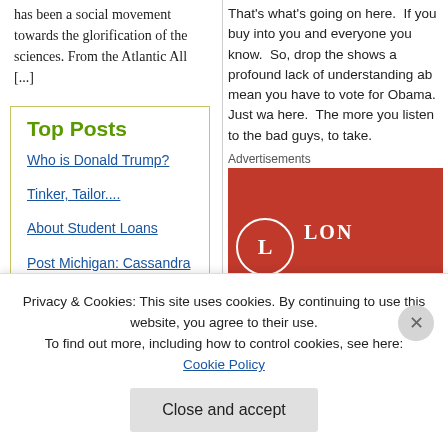has been a social movement towards the glorification of the sciences. From the Atlantic All [...]
Top Posts
Who is Donald Trump?
Tinker, Tailor....
About Student Loans
Post Michigan: Cassandra Speaks
Trump fires Comey
WTAF, Jim??
That's what's going on here.  If you buy into you and everyone you know.  So, drop the shows a profound lack of understanding ab mean you have to vote for Obama.  Just wa here.  The more you listen to the bad guys, to take.
Advertisements
[Figure (illustration): Red advertisement banner with 'L LON' logo circle and text 'The best the web – everyon' in white italic on red background, with dark 'Start' button bottom right.]
Privacy & Cookies: This site uses cookies. By continuing to use this website, you agree to their use.
To find out more, including how to control cookies, see here: Cookie Policy
Close and accept